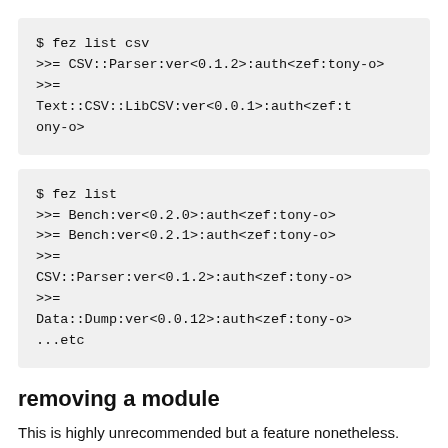$ fez list csv
>>= CSV::Parser:ver<0.1.2>:auth<zef:tony-o>
>>= Text::CSV::LibCSV:ver<0.0.1>:auth<zef:tony-o>
$ fez list
>>= Bench:ver<0.2.0>:auth<zef:tony-o>
>>= Bench:ver<0.2.1>:auth<zef:tony-o>
>>= CSV::Parser:ver<0.1.2>:auth<zef:tony-o>
>>= Data::Dump:ver<0.0.12>:auth<zef:tony-o>
...etc
removing a module
This is highly unrecommended but a feature nonetheless. This requires you use the full dist name as shown in list, and is only available